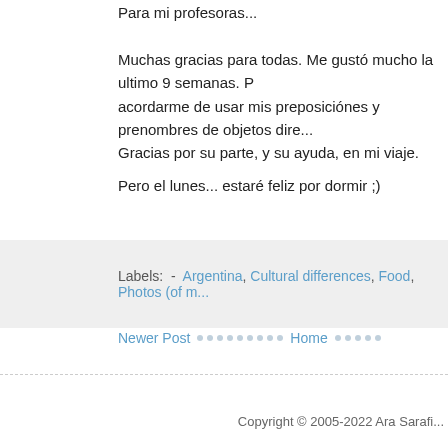Para mi profesoras...
Muchas gracias para todas. Me gustó mucho la ultimo 9 semanas. P... acordarme de usar mis preposiciónes y prenombres de objetos dire... Gracias por su parte, y su ayuda, en mi viaje.
Pero el lunes... estaré feliz por dormir ;)
Labels:  - Argentina, Cultural differences, Food, Photos (of m...
Newer Post
Home
Copyright © 2005-2022 Ara Sarafi...